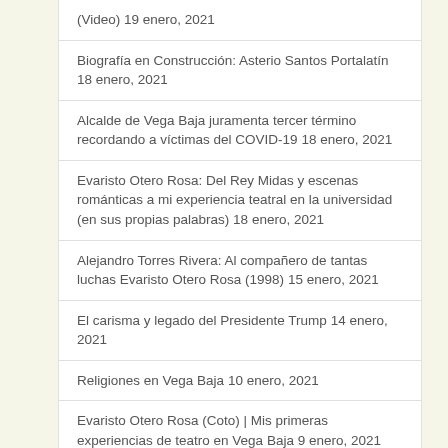(Video) 19 enero, 2021
Biografía en Construcción: Asterio Santos Portalatín 18 enero, 2021
Alcalde de Vega Baja juramenta tercer término recordando a víctimas del COVID-19 18 enero, 2021
Evaristo Otero Rosa: Del Rey Midas y escenas románticas a mi experiencia teatral en la universidad (en sus propias palabras) 18 enero, 2021
Alejandro Torres Rivera: Al compañero de tantas luchas Evaristo Otero Rosa (1998) 15 enero, 2021
El carisma y legado del Presidente Trump 14 enero, 2021
Religiones en Vega Baja 10 enero, 2021
Evaristo Otero Rosa (Coto) | Mis primeras experiencias de teatro en Vega Baja 9 enero, 2021
Hace 70 años, la boda de mis padres… 5 enero, 2021
6 de enero en el Calendario Histórico de la Escuela de la